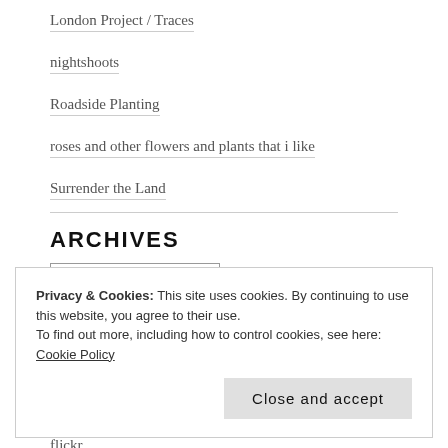London Project / Traces
nightshoots
Roadside Planting
roses and other flowers and plants that i like
Surrender the Land
ARCHIVES
Select Month
Privacy & Cookies: This site uses cookies. By continuing to use this website, you agree to their use.
To find out more, including how to control cookies, see here: Cookie Policy
Close and accept
flickr